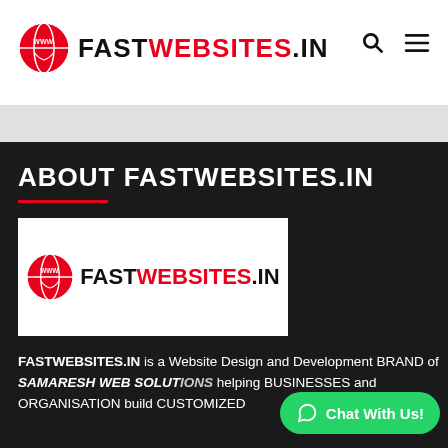FASTWEBSITES.IN
ABOUT FASTWEBSITES.IN
[Figure (logo): FASTWEBSITES.IN logo with red WWW globe icon and bold text FAST in black, WEBSITES in red, .IN in black]
FASTWEBSITES.IN is a Website Design and Development BRAND of SAMARESH WEB SOLUTIONS helping BUSINESSES and ORGANISATION build CUSTOMIZED WEBSITES...